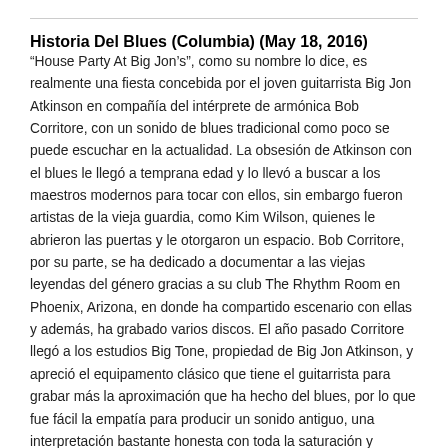Historia Del Blues (Columbia) (May 18, 2016)
“House Party At Big Jon’s”, como su nombre lo dice, es realmente una fiesta concebida por el joven guitarrista Big Jon Atkinson en compañía del intérprete de armónica Bob Corritore, con un sonido de blues tradicional como poco se puede escuchar en la actualidad. La obsesión de Atkinson con el blues le llegó a temprana edad y lo llevó a buscar a los maestros modernos para tocar con ellos, sin embargo fueron artistas de la vieja guardia, como Kim Wilson, quienes le abrieron las puertas y le otorgaron un espacio. Bob Corritore, por su parte, se ha dedicado a documentar a las viejas leyendas del género gracias a su club The Rhythm Room en Phoenix, Arizona, en donde ha compartido escenario con ellas y además, ha grabado varios discos. El año pasado Corritore llegó a los estudios Big Tone, propiedad de Big Jon Atkinson, y apreció el equipamento clásico que tiene el guitarrista para grabar más la aproximación que ha hecho del blues, por lo que fue fácil la empatía para producir un sonido antiguo, una interpretación bastante honesta con toda la saturación y calidez que tenían los discos de blues de los cuarenta